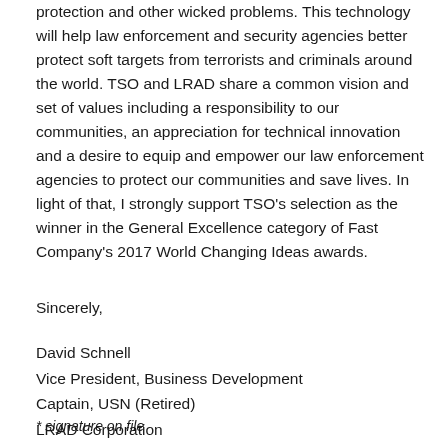protection and other wicked problems. This technology will help law enforcement and security agencies better protect soft targets from terrorists and criminals around the world. TSO and LRAD share a common vision and set of values including a responsibility to our communities, an appreciation for technical innovation and a desire to equip and empower our law enforcement agencies to protect our communities and save lives. In light of that, I strongly support TSO's selection as the winner in the General Excellence category of Fast Company's 2017 World Changing Ideas awards.
Sincerely,
David Schnell
Vice President, Business Development
Captain, USN (Retired)
LRAD Corporation
* signature on file